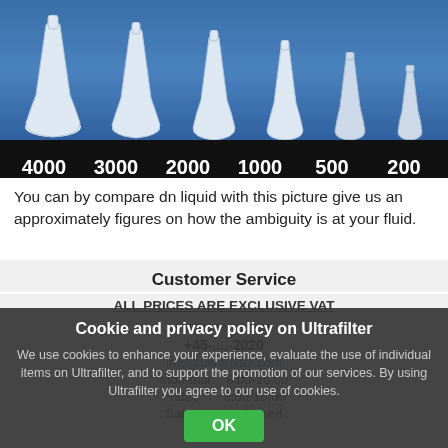[Figure (photo): Row of volumetric flasks of decreasing size with blue background, labeled 4000, 3000, 2000, 1000, 500, 200 on a black label bar below]
You can by compare dn liquid with this picture give us an approximately figures on how the ambiguity is at your fluid.
Customer Service
ALL PRICES ARE EXCLUSIVE VAT
Cookie and privacy policy on Ultrafilter
We use cookies to enhance your experience, evaluate the use of individual items on Ultrafilter, and to support the promotion of our services. By using Ultrafilter you agree to our use of cookies.
Customerservice
+45-....-2020
info@ultra-filter.com
Mon-thur:   8:00-16:00
Friday:      8:00-15:00
Sat-sunday:  Closed